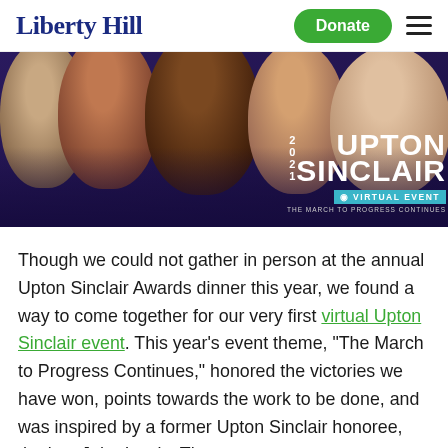Liberty Hill | Donate | Menu
[Figure (photo): Group photo of four women smiling with Upton Sinclair 2021 Virtual Event overlay text reading 'The March to Progress Continues']
Though we could not gather in person at the annual Upton Sinclair Awards dinner this year, we found a way to come together for our very first virtual Upton Sinclair event. This year’s event theme, “The March to Progress Continues,” honored the victories we have won, points towards the work to be done, and was inspired by a former Upton Sinclair honoree, the late John Lewis. The